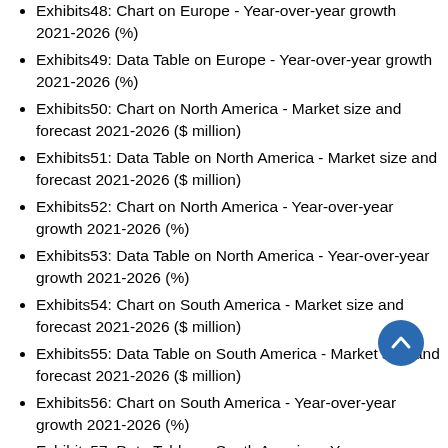Exhibits48: Chart on Europe - Year-over-year growth 2021-2026 (%)
Exhibits49: Data Table on Europe - Year-over-year growth 2021-2026 (%)
Exhibits50: Chart on North America - Market size and forecast 2021-2026 ($ million)
Exhibits51: Data Table on North America - Market size and forecast 2021-2026 ($ million)
Exhibits52: Chart on North America - Year-over-year growth 2021-2026 (%)
Exhibits53: Data Table on North America - Year-over-year growth 2021-2026 (%)
Exhibits54: Chart on South America - Market size and forecast 2021-2026 ($ million)
Exhibits55: Data Table on South America - Market size and forecast 2021-2026 ($ million)
Exhibits56: Chart on South America - Year-over-year growth 2021-2026 (%)
Exhibits57: Data Table on South America - Year-over-year growth 2021-2026 (%)